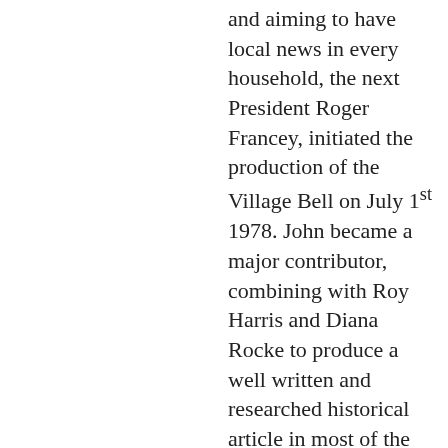and aiming to have local news in every household, the next President Roger Francey, initiated the production of the Village Bell on July 1st 1978. John became a major contributor, combining with Roy Harris and Diana Rocke to produce a well written and researched historical article in most of the early issues. These articles form the backbone of an Upper Beaconsfield history which will be written one day. Having displayed his talents, he was next invited to assist in the revision of the "Early Days of Berwick" 3rd